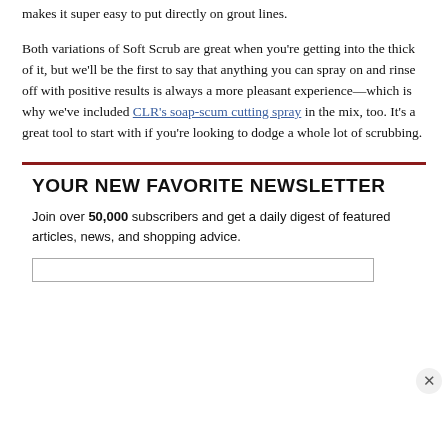makes it super easy to put directly on grout lines.
Both variations of Soft Scrub are great when you're getting into the thick of it, but we'll be the first to say that anything you can spray on and rinse off with positive results is always a more pleasant experience—which is why we've included CLR's soap-scum cutting spray in the mix, too. It's a great tool to start with if you're looking to dodge a whole lot of scrubbing.
YOUR NEW FAVORITE NEWSLETTER
Join over 50,000 subscribers and get a daily digest of featured articles, news, and shopping advice.